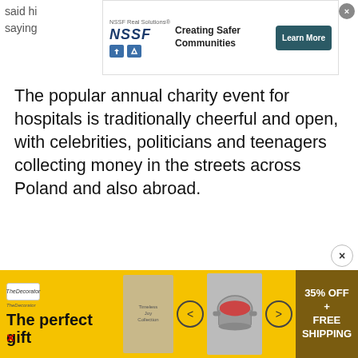said hi... saying...
[Figure (screenshot): NSSF Real Solutions advertisement banner with logo, 'Creating Safer Communities' text, and 'Learn More' button]
The popular annual charity event for hospitals is traditionally cheerful and open, with celebrities, politicians and teenagers collecting money in the streets across Poland and also abroad.
[Figure (screenshot): Bottom advertisement banner for The Descriptor showing 'The perfect gift' with food imagery, navigation arrows, and '35% OFF + FREE SHIPPING' offer]